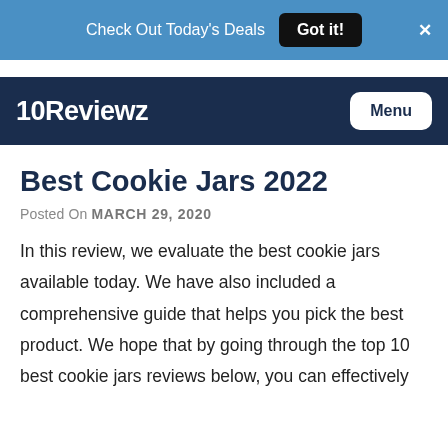Check Out Today's Deals  Got it!  X
10Reviewz  Menu
Best Cookie Jars 2022
Posted On MARCH 29, 2020
In this review, we evaluate the best cookie jars available today. We have also included a comprehensive guide that helps you pick the best product. We hope that by going through the top 10 best cookie jars reviews below, you can effectively